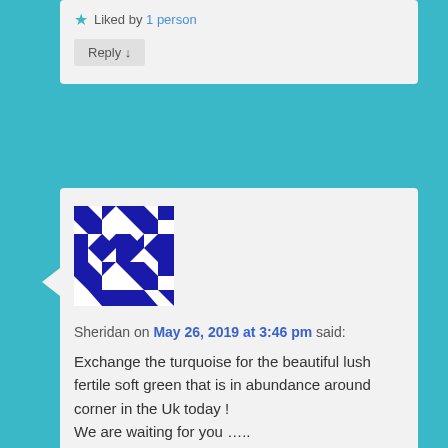Liked by 1 person
Reply ↓
[Figure (illustration): Gravatar avatar for Sheridan — blue and white geometric mosaic pattern]
Sheridan on May 26, 2019 at 3:46 pm said:
Exchange the turquoise for the beautiful lush fertile soft green that is in abundance around corner in the Uk today !
We are waiting for you …..
Safe journey Sxxxx
Liked by 1 person
Reply ↓